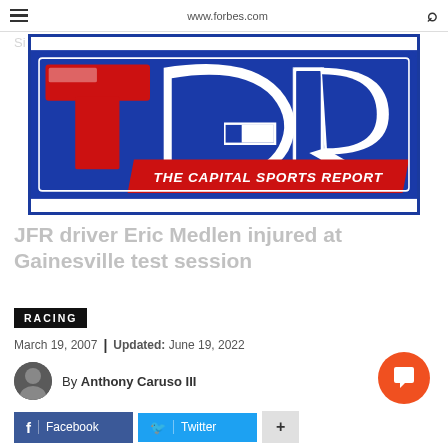www.forbes.com
[Figure (logo): The Capital Sports Report (TSR) logo — large letters T, G, R in red/white/blue with 'THE CAPITAL SPORTS REPORT' text below in red italic]
JFR driver Eric Medlen injured at Gainesville test session
RACING
March 19, 2007 | Updated: June 19, 2022
By Anthony Caruso III